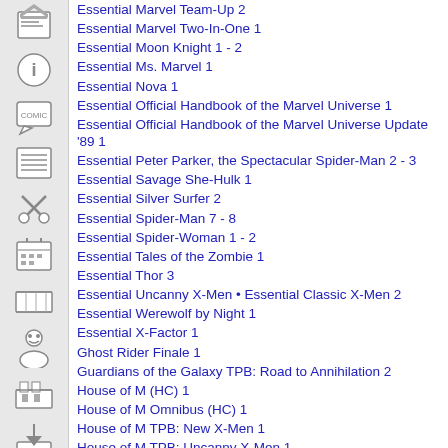Essential Marvel Team-Up 2
Essential Marvel Two-In-One 1
Essential Moon Knight 1 - 2
Essential Ms. Marvel 1
Essential Nova 1
Essential Official Handbook of the Marvel Universe 1
Essential Official Handbook of the Marvel Universe Update '89 1
Essential Peter Parker, the Spectacular Spider-Man 2 - 3
Essential Savage She-Hulk 1
Essential Silver Surfer 2
Essential Spider-Man 7 - 8
Essential Spider-Woman 1 - 2
Essential Tales of the Zombie 1
Essential Thor 3
Essential Uncanny X-Men • Essential Classic X-Men 2
Essential Werewolf by Night 1
Essential X-Factor 1
Ghost Rider Finale 1
Guardians of the Galaxy TPB: Road to Annihilation 2
House of M (HC) 1
House of M Omnibus (HC) 1
House of M TPB: New X-Men 1
House of M TPB: Uncanny X-Men 1
Hulk (HC): Planet Hulk 1
Hulk Omnibus (HC): Planet Hulk 1
Hulk TPB: Planet Hulk 1
Marvel Holiday Special 2006 1
Marvel Legacy: The 1960s Handbook 1